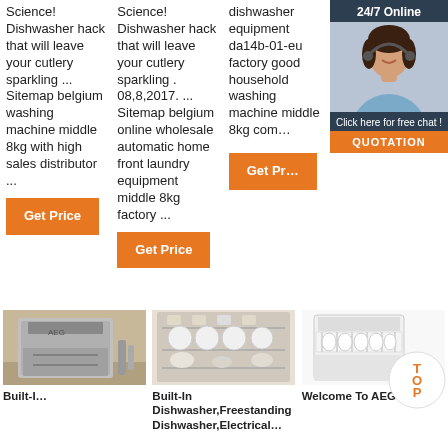Science! Dishwasher hack that will leave your cutlery sparkling ... Sitemap belgium washing machine middle 8kg with high sales distributor ...
Get Price
Science! Dishwasher hack that will leave your cutlery sparkling . 08,8,2017. ... Sitemap belgium online wholesale automatic home front laundry equipment middle 8kg factory ...
Get Price
dishwasher equipment da14b-01-eu factory good household washing machine middle 8kg com…
Get Pr…
24/7 Online
Click here for free chat !
QUOTATION
[Figure (photo): Small built-in dishwasher appliance, silver/grey, with door open and pipes visible on right side]
Built-I…
[Figure (photo): Open dishwasher interior with multiple white plates on racks and cups on top rack]
Built-In Dishwasher,Freestanding Dishwasher,Electrical…
[Figure (photo): White freestanding dishwasher with door open showing plate rack, with orange water drops decorative element and TOP badge overlay]
Welcome To AEG 9-